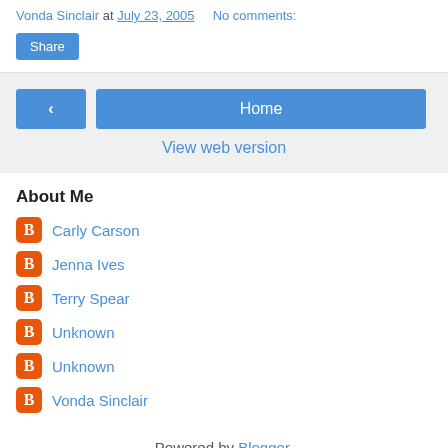Vonda Sinclair at July 23, 2005   No comments:
Share
< | Home
View web version
About Me
Carly Carson
Jenna Ives
Terry Spear
Unknown
Unknown
Vonda Sinclair
Powered by Blogger.